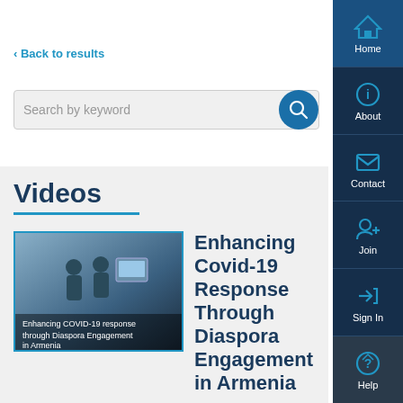< Back to results
[Figure (screenshot): Search bar with 'Search by keyword' placeholder and blue search button]
Videos
[Figure (photo): Video thumbnail showing medical workers with text 'Enhancing COVID-19 response through Diaspora Engagement in Armenia']
Enhancing Covid-19 Response Through Diaspora Engagement in Armenia
[Figure (infographic): Sidebar navigation with Home, About, Contact, Join, Sign In, Help buttons]